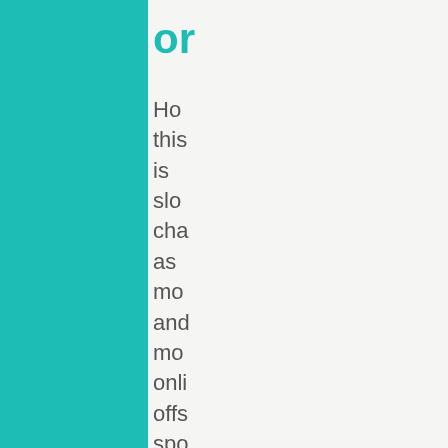or
Ho
this
is
slo
cha
as
mo
anc
mo
onli
offs
spo
are
allo
mic
res
to
use